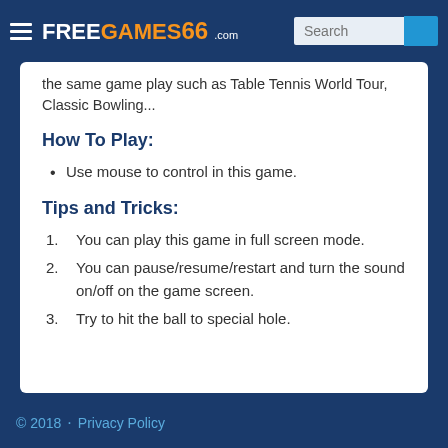FreeGames66.com — Search
the same game play such as Table Tennis World Tour, Classic Bowling...
How To Play:
Use mouse to control in this game.
Tips and Tricks:
1. You can play this game in full screen mode.
2. You can pause/resume/restart and turn the sound on/off on the game screen.
3. Try to hit the ball to special hole.
© 2018  ·  Privacy Policy